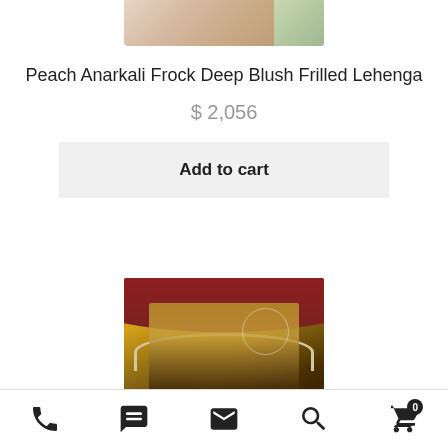[Figure (photo): Top portion of a product image showing a peach/floral garment, cropped at top]
Peach Anarkali Frock Deep Blush Frilled Lehenga
$ 2,056
Add to cart
[Figure (photo): Woman wearing an ornate gold and black heavily embellished bridal outfit, standing in front of a decorative arch with red background]
Phone | WhatsApp | Email | Search | Cart (0)